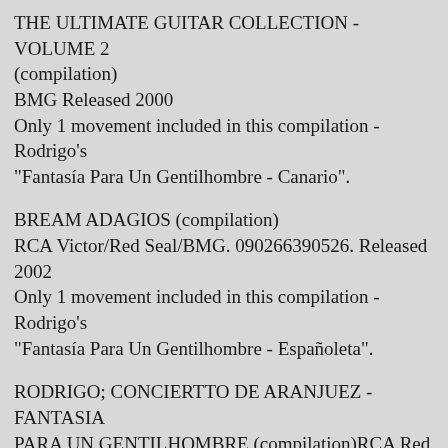THE ULTIMATE GUITAR COLLECTION -VOLUME 2 (compilation)
BMG Released 2000
Only 1 movement included in this compilation -Rodrigo's "Fantasía Para Un Gentilhombre - Canario".
BREAM ADAGIOS (compilation)
RCA Victor/Red Seal/BMG. 090266390526. Released 2002
Only 1 movement included in this compilation -Rodrigo's "Fantasía Para Un Gentilhombre - Españoleta".
RODRIGO; CONCIERTTO DE ARANJUEZ - FANTASIA PARA UN GENTILHOMBRE (compilation)RCA Red Seal/BMG. 828766087024. Released 2004
The entire Rodrigo's "Fantasía Para Un Gentilhombre" was included.